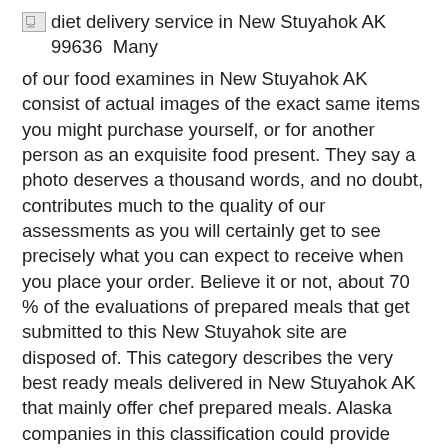diet delivery service in New Stuyahok AK 99636  Many
of our food examines in New Stuyahok AK consist of actual images of the exact same items you might purchase yourself, or for another person as an exquisite food present. They say a photo deserves a thousand words, and no doubt, contributes much to the quality of our assessments as you will certainly get to see precisely what you can expect to receive when you place your order. Believe it or not, about 70 % of the evaluations of prepared meals that get submitted to this New Stuyahok site are disposed of. This category describes the very best ready meals delivered in New Stuyahok AK that mainly offer chef prepared meals. Alaska companies in this classification could provide nutritional and diet delivery meals, however they are different from companies in the weight reduction meal category in that they do not need consumers to purchase meal plans with automatic deliveries.